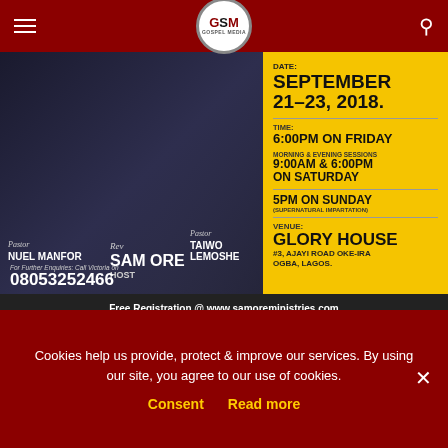GSM Gospel Media
[Figure (photo): Event flyer for Sam Ore Ministries revival meeting featuring Pastor Nuel Manfor, Rev Sam Ore (Host), and Pastor Taiwo Lemoshe. Date: September 21-23, 2018. Time: 6:00PM on Friday; Morning & Evening Sessions 9:00AM & 6:00PM on Saturday; 5PM on Sunday (Supernatural Impartation). Venue: Glory House, #3 Ajayi Road Oke-Ira, Ogba, Lagos. Contact: 08053252466. Free Registration @ www.samoreministries.com]
The cities of Ilorin and Lagos, Nigeria are the next points to be reintroduced to the Gospel of Jesus in a grace-filled event
Cookies help us provide, protect & improve our services. By using our site, you agree to our use of cookies.
Consent   Read more